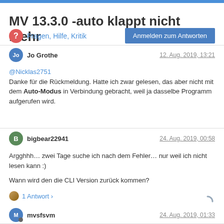MV 13.3.0 -auto klappt nicht mehr
Fragen, Hilfe, Kritik
Anmelden zum Antworten
Jo Grothe  12. Aug. 2019, 13:21
@Nicklas2751
Danke für die Rückmeldung. Hatte ich zwar gelesen, das aber nicht mit dem Auto-Modus in Verbindung gebracht, weil ja dasselbe Programm aufgerufen wird.
bigbear22941  24. Aug. 2019, 00:58
Argghhh… zwei Tage suche ich nach dem Fehler… nur weil ich nicht lesen kann :)

Wann wird den die CLI Version zurück kommen?
1 Antwort ›
mvsfsvm  24. Aug. 2019, 01:33